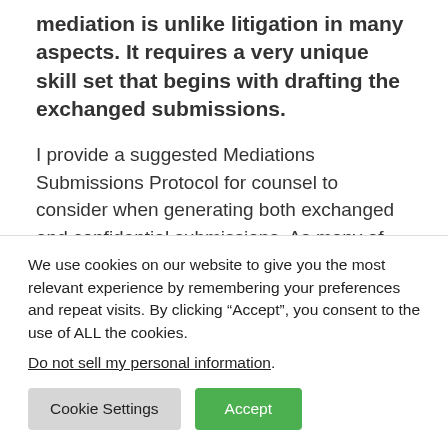successful lawyers realize participation in a mediation is unlike litigation in many aspects. It requires a very unique skill set that begins with drafting the exchanged submissions.
I provide a suggested Mediations Submissions Protocol for counsel to consider when generating both exchanged and confidential submissions. As many of you know, the exchanged submissions go to all counsel, as well as myself, but the
We use cookies on our website to give you the most relevant experience by remembering your preferences and repeat visits. By clicking “Accept”, you consent to the use of ALL the cookies.
Do not sell my personal information.